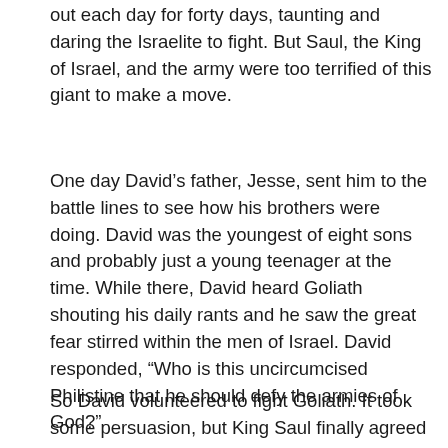out each day for forty days, taunting and daring the Israelite to fight. But Saul, the King of Israel, and the army were too terrified of this giant to make a move.
One day David’s father, Jesse, sent him to the battle lines to see how his brothers were doing. David was the youngest of eight sons and probably just a young teenager at the time. While there, David heard Goliath shouting his daily rants and he saw the great fear stirred within the men of Israel. David responded, “Who is this uncircumcised Philistine that he should defy the armies of God?”
So David volunteered to fight Goliath. It took some persuasion, but King Saul finally agreed to let David fight against the giant. Dressed in his simple tunic, carrying his shepherd’s staff, slingshot and a pouch full of stones, David approached Goliath. The giant cursed at him, hurling threats and insults.
David said to the Philistine, “You come against me with sword and spear and javelin, but I come against you in the name of the Lord Almighty, the God of the armies of Israel, whom you have defied.